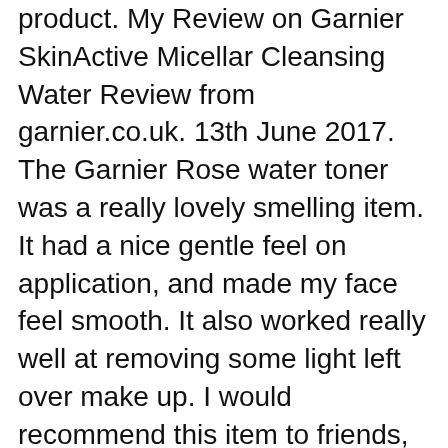product. My Review on Garnier SkinActive Micellar Cleansing Water Review from garnier.co.uk. 13th June 2017. The Garnier Rose water toner was a really lovely smelling item. It had a nice gentle feel on application, and made my face feel smooth. It also worked really well at removing some light left over make up. I would recommend this item to friends, and interested to try the other items in this range. [This
While rose water is most known for its refreshing properties, it can also be used as a toner as well as a setting spray after applying makeup for a naturally dewy and radiant glow. And